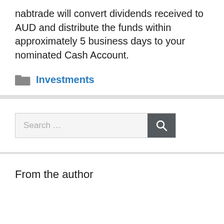nabtrade will convert dividends received to AUD and distribute the funds within approximately 5 business days to your nominated Cash Account.
Investments
Search …
From the author